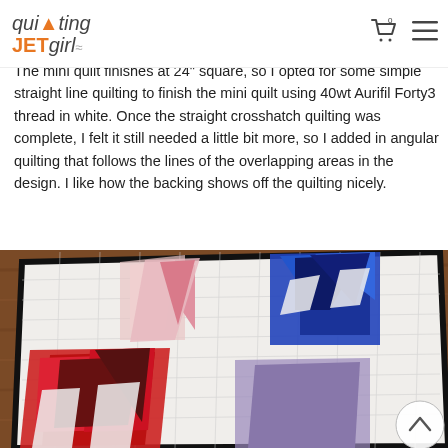quilting JETgirl
The mini quilt finishes at 24" square, so I opted for some simple straight line quilting to finish the mini quilt using 40wt Aurifil Forty3 thread in white. Once the straight crosshatch quilting was complete, I felt it still needed a little bit more, so I added in angular quilting that follows the lines of the overlapping areas in the design. I like how the backing shows off the quilting nicely.
[Figure (photo): A quilted mini quilt laid flat on a wooden surface. The quilt is white with geometric triangle and angular shapes in red, blue, pink, and purple/lavender colors, with a black border. Straight-line crosshatch quilting is visible across the white areas.]